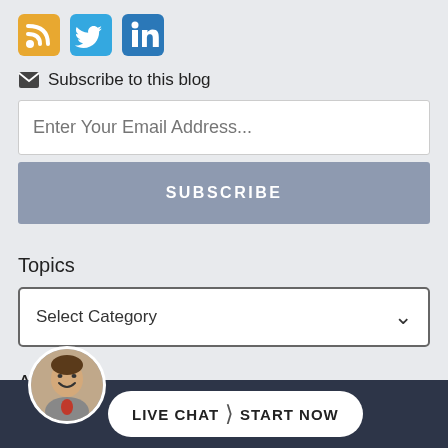[Figure (infographic): Social media icons: RSS (orange), Twitter (blue), LinkedIn (blue)]
✉ Subscribe to this blog
Enter Your Email Address...
SUBSCRIBE
Topics
Select Category
Archives
Select Month
[Figure (infographic): Live Chat Start Now button with avatar photo of smiling man]